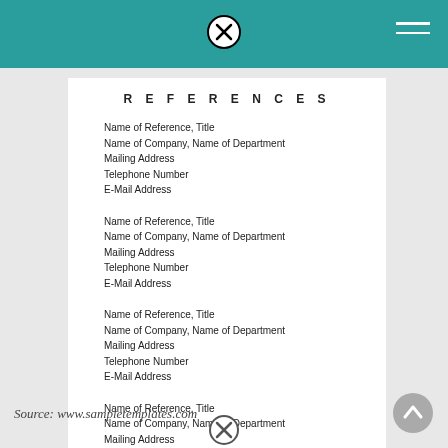REFERENCES
Name of Reference, Title
Name of Company, Name of Department
Mailing Address
Telephone Number
E-Mail Address
Name of Reference, Title
Name of Company, Name of Department
Mailing Address
Telephone Number
E-Mail Address
Name of Reference, Title
Name of Company, Name of Department
Mailing Address
Telephone Number
E-Mail Address
Name of Reference, Title
Name of Company, Name of Department
Mailing Address
Telephone Number
E-Mail Address
Source: www.sampletemplates.com